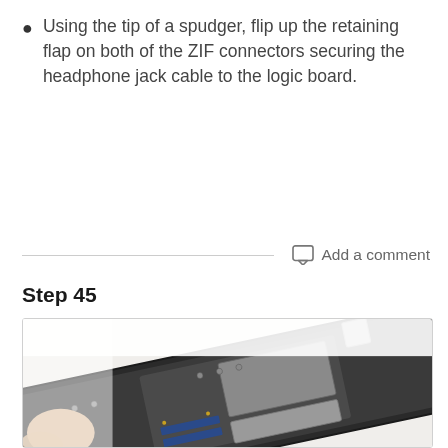Using the tip of a spudger, flip up the retaining flap on both of the ZIF connectors securing the headphone jack cable to the logic board.
Add a comment
Step 45
[Figure (photo): Photo of hands holding a disassembled device (tablet or laptop) showing the logic board with ZIF connectors, screws, and metal shielding components visible. A finger/thumb is seen gripping the bottom-left corner of the device frame.]